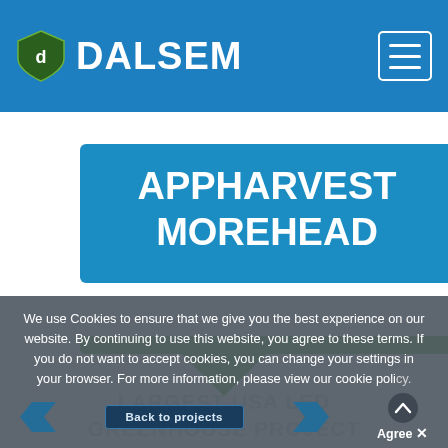DALSEM
APPHARVEST MOREHEAD
LARGEST USA LED GREENHOUSE PROJECT
We use Cookies to ensure that we give you the best experience on our website. By continuing to use this website, you agree to these terms. If you do not want to accept cookies, you can change your settings in your browser. For more information, please view our cookie policy.
Back to projects
Agree